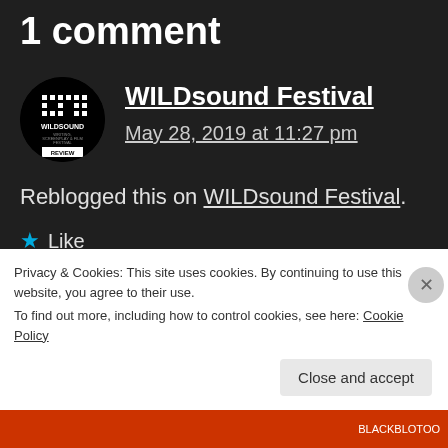1 comment
[Figure (logo): WILDsound Festival circular logo with grid icon and text WILDSOUND WRITING, SCREENPLAY & FILM FESTIVAL REVIEW]
WILDsound Festival
May 28, 2019 at 11:27 pm
Reblogged this on WILDsound Festival.
Like
Reply
Privacy & Cookies: This site uses cookies. By continuing to use this website, you agree to their use.
To find out more, including how to control cookies, see here: Cookie Policy
Close and accept